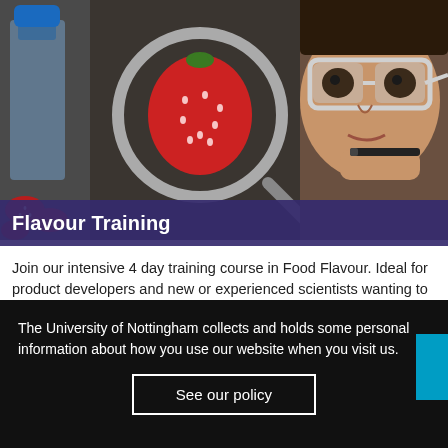[Figure (photo): A female scientist wearing safety goggles holds a pen and examines a strawberry through a magnifying glass in a laboratory setting. Laboratory glassware with a blue cap is visible on the left.]
Flavour Training
Join our intensive 4 day training course in Food Flavour. Ideal for product developers and new or experienced scientists wanting to understand the science and application of flavour technology, and how flavours can be generated, analysed, delivered and commercially exploited.
The University of Nottingham collects and holds some personal information about how you use our website when you visit us. See our policy